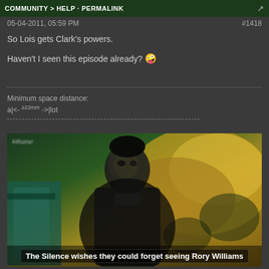COMMUNITY > HELP · PERMALINK
05-04-2011, 05:59 PM    #1418
So Lois gets Clark's powers.

Haven't I seen this episode already? 🤪
Minimum space distance:
a|<- ≥22mm ->|lot
-----------------------------------------------------------
[Figure (photo): A young man with dark hair looking directly at the camera in what appears to be a sci-fi setting with gold/green background. Subtitle text reads: 'The Silence wishes they could forget seeing Rory Williams']